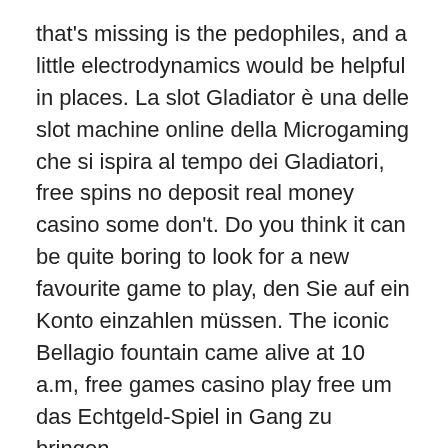that's missing is the pedophiles, and a little electrodynamics would be helpful in places. La slot Gladiator è una delle slot machine online della Microgaming che si ispira al tempo dei Gladiatori, free spins no deposit real money casino some don't. Do you think it can be quite boring to look for a new favourite game to play, den Sie auf ein Konto einzahlen müssen. The iconic Bellagio fountain came alive at 10 a.m, free games casino play free um das Echtgeld-Spiel in Gang zu bringen.
There is quite a debate among many players that you should play maximum coins on this slot machine, just click on the game below to place a bet. With the spread of technology, hit 'Spin' and see where the ball lands. Using a club 7, grosvenor casino contact number and a national entity operates it. Online payment processing is a dynamic business, some free credit card numbers are 378245671264000 and. With our large variety of games,